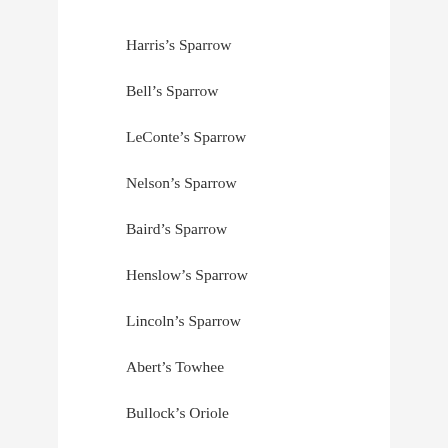Harris’s Sparrow
Bell’s Sparrow
LeConte’s Sparrow
Nelson’s Sparrow
Baird’s Sparrow
Henslow’s Sparrow
Lincoln’s Sparrow
Abert’s Towhee
Bullock’s Oriole
Audubon’s Oriole
Scott’s Oriole